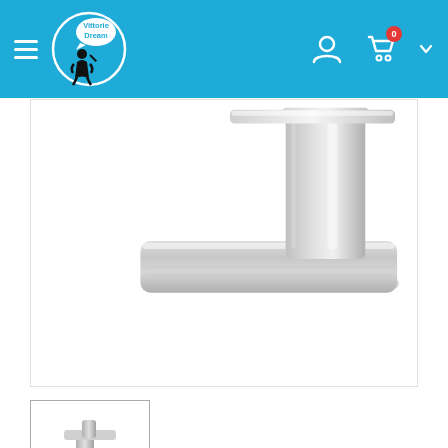Vittorie Dream — navigation header with hamburger menu, logo, user icon, cart icon with badge 0
[Figure (photo): Close-up photo of the base/bottom of a brushed nickel waterfall bathroom sink faucet, showing the rectangular mounting plate and stem from a top-down angle. Silver/nickel finish.]
[Figure (photo): Thumbnail image of the full waterfall bathroom sink faucet in brushed nickel, showing the complete unit with single handle.]
Waterfall Bathroom Sink Faucet Brushed Nickel Vanity Single Handle One Hole Basin Modern